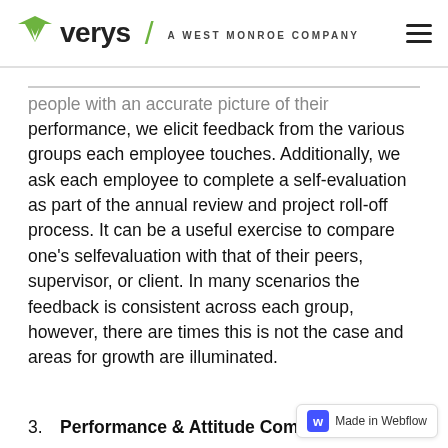verys / A WEST MONROE COMPANY
people with an accurate picture of their performance, we elicit feedback from the various groups each employee touches. Additionally, we ask each employee to complete a self-evaluation as part of the annual review and project roll-off process. It can be a useful exercise to compare one's selfevaluation with that of their peers, supervisor, or client. In many scenarios the feedback is consistent across each group, however, there are times this is not the case and areas for growth are illuminated.
3.  Performance & Attitude Com…